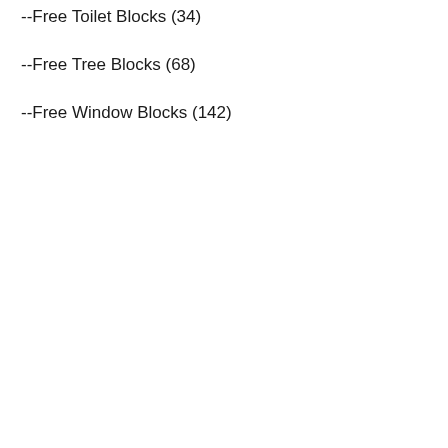--Free Toilet Blocks (34)
--Free Tree Blocks (68)
--Free Window Blocks (142)